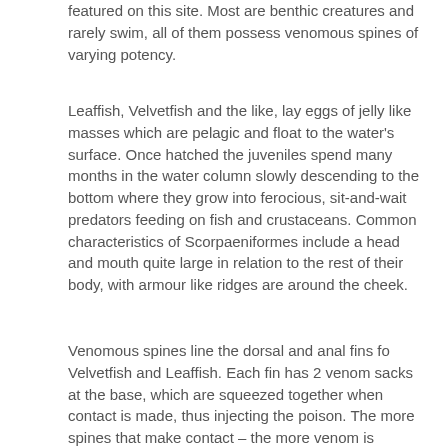featured on this site. Most are benthic creatures and rarely swim, all of them possess venomous spines of varying potency.
Leaffish, Velvetfish and the like, lay eggs of jelly like masses which are pelagic and float to the water's surface. Once hatched the juveniles spend many months in the water column slowly descending to the bottom where they grow into ferocious, sit-and-wait predators feeding on fish and crustaceans. Common characteristics of Scorpaeniformes include a head and mouth quite large in relation to the rest of their body, with armour like ridges are around the cheek.
Venomous spines line the dorsal and anal fins fo Velvetfish and Leaffish. Each fin has 2 venom sacks at the base, which are squeezed together when contact is made, thus injecting the poison. The more spines that make contact – the more venom is received. The sting of a Stonefish can be fatal as their venom is the most potent. Other species are generally not life threatening, but is still excruciatingly painful. We were once witness to a catfish impalement through a scuba boot. At the time we were 600km from the nearest medical facility (a situation many divers find themselves in). Fortunately we knew how to treat the wound with heat to break down the protein. We submerged the foot in hot water, which effectively provided slow relief. However for three days the victim was in excruciating pain, which eased, but did not disappear for weeks. The recommended treatment for such wounds is